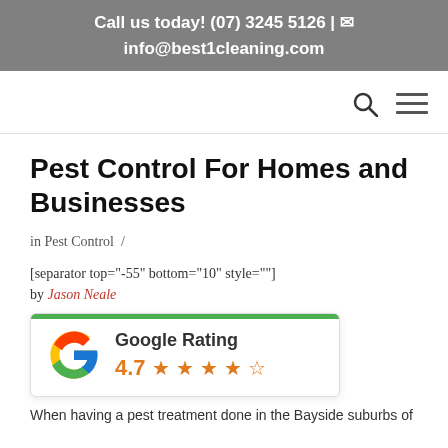Call us today! (07) 3245 5126 | ✉ info@best1cleaning.com
[Figure (other): Navigation bar with search icon and hamburger menu]
Pest Control For Homes and Businesses
in Pest Control /
[separator top="-55" bottom="10" style=""]
by Jason Neale
[Figure (other): Google Rating widget showing 4.7 stars with green top bar]
When having a pest treatment done in the Bayside suburbs of